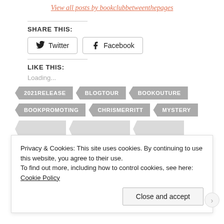View all posts by bookclubbetweenthepages
SHARE THIS:
Twitter  Facebook
LIKE THIS:
Loading...
2021RELEASE
BLOGTOUR
BOOKOUTURE
BOOKPROMOTING
CHRISMERRITT
MYSTERY
Privacy & Cookies: This site uses cookies. By continuing to use this website, you agree to their use.
To find out more, including how to control cookies, see here: Cookie Policy
Close and accept